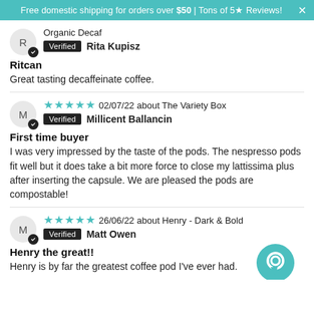Free domestic shipping for orders over $50 | Tons of 5★ Reviews!
Organic Decaf
Verified  Rita Kupisz
Ritcan
Great tasting decaffeinate coffee.
02/07/22 about The Variety Box
Verified  Millicent Ballancin
First time buyer
I was very impressed by the taste of the pods. The nespresso pods fit well but it does take a bit more force to close my lattissima plus after inserting the capsule. We are pleased the pods are compostable!
26/06/22 about Henry - Dark & Bold
Verified  Matt Owen
Henry the great!!
Henry is by far the greatest coffee pod I've ever had.